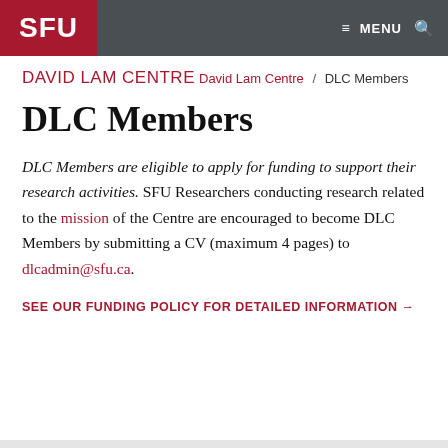SFU  ≡ MENU  🔍
DAVID LAM CENTRE
David Lam Centre / DLC Members
DLC Members
DLC Members are eligible to apply for funding to support their research activities. SFU Researchers conducting research related to the mission of the Centre are encouraged to become DLC Members by submitting a CV (maximum 4 pages) to dlcadmin@sfu.ca.
SEE OUR FUNDING POLICY FOR DETAILED INFORMATION →